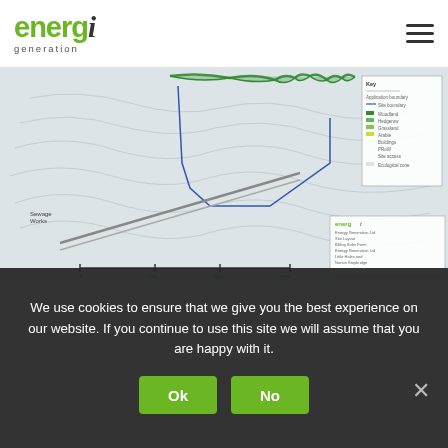[Figure (logo): energi generation logo — 'energ' in green, italic 'i' in dark grey, 'generation' subtitle below]
[Figure (map): Site layout engineering/topographic map for Billing Solar Farm showing contour lines, site boundary in blue, access roads, green tree line, key/legend panel, and energi generation title block in lower right]
We use cookies to ensure that we give you the best experience on our website. If you continue to use this site we will assume that you are happy with it.